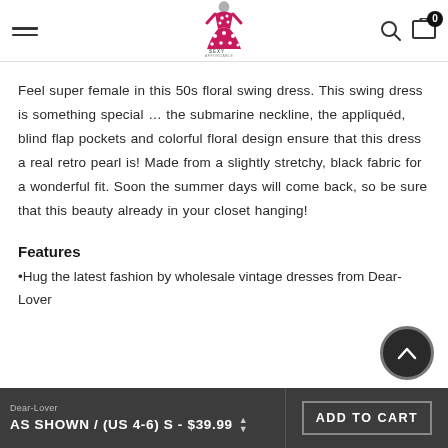Sexy Affordable logo, search, cart (0 items)
Feel super female in this 50s floral swing dress. This swing dress is something special … the submarine neckline, the appliquéd, blind flap pockets and colorful floral design ensure that this dress a real retro pearl is! Made from a slightly stretchy, black fabric for a wonderful fit. Soon the summer days will come back, so be sure that this beauty already in your closet hanging!
Features
•Hug the latest fashion by wholesale vintage dresses from Dear-Lover
AS SHOWN / (US 4-6) S - $39.99  ADD TO CART